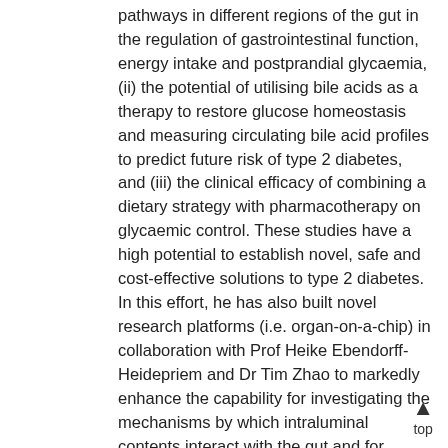pathways in different regions of the gut in the regulation of gastrointestinal function, energy intake and postprandial glycaemia, (ii) the potential of utilising bile acids as a therapy to restore glucose homeostasis and measuring circulating bile acid profiles to predict future risk of type 2 diabetes, and (iii) the clinical efficacy of combining a dietary strategy with pharmacotherapy on glycaemic control. These studies have a high potential to establish novel, safe and cost-effective solutions to type 2 diabetes. In this effort, he has also built novel research platforms (i.e. organ-on-a-chip) in collaboration with Prof Heike Ebendorff-Heidepriem and Dr Tim Zhao to markedly enhance the capability for investigating the mechanisms by which intraluminal contents interact with the gut and for screening effective therapeutic regimen for evaluation in clinical trials.
top